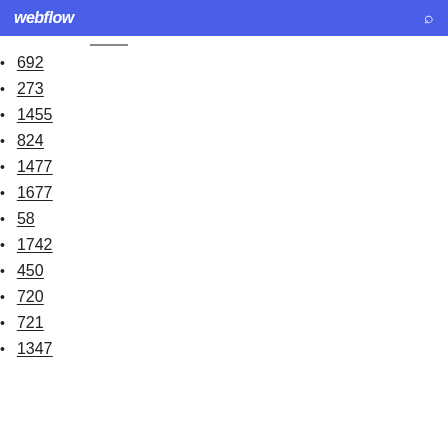webflow
692
273
1455
824
1477
1677
58
1742
450
720
721
1347